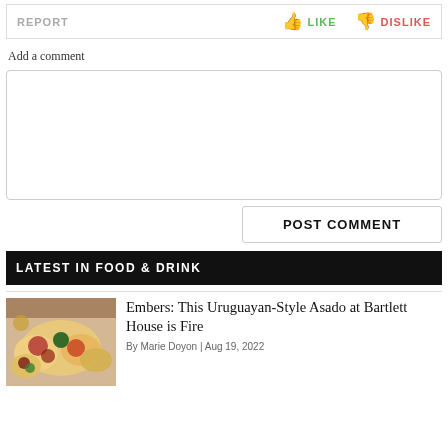REPORT | LIKE | DISLIKE
Add a comment
[Figure (screenshot): Empty comment text area input box]
POST COMMENT
LATEST IN FOOD & DRINK
[Figure (photo): Food photo showing tacos and colorful dishes]
Embers: This Uruguayan-Style Asado at Bartlett House is Fire
By Marie Doyon | Aug 19, 2022